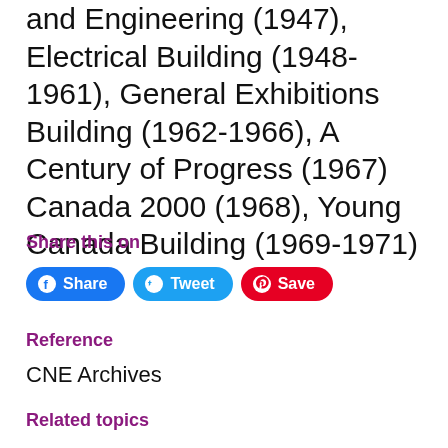and Engineering (1947), Electrical Building (1948-1961), General Exhibitions Building (1962-1966), A Century of Progress (1967) Canada 2000 (1968), Young Canada Building (1969-1971)
Share this on
Share  Tweet  Save
Reference
CNE Archives
Related topics